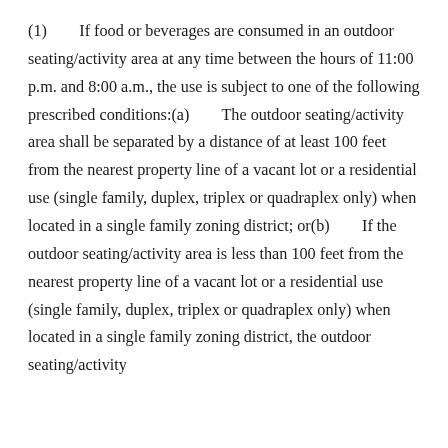(1)        If food or beverages are consumed in an outdoor seating/activity area at any time between the hours of 11:00 p.m. and 8:00 a.m., the use is subject to one of the following prescribed conditions:(a)        The outdoor seating/activity area shall be separated by a distance of at least 100 feet from the nearest property line of a vacant lot or a residential use (single family, duplex, triplex or quadraplex only) when located in a single family zoning district; or(b)        If the outdoor seating/activity area is less than 100 feet from the nearest property line of a vacant lot or a residential use (single family, duplex, triplex or quadraplex only) when located in a single family zoning district, the outdoor seating/activity...